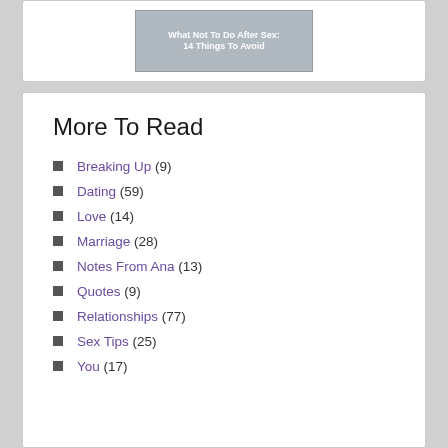[Figure (photo): Article thumbnail image with text overlay: 'What Not To Do After Sex: 14 Things To Avoid']
More To Read
Breaking Up (9)
Dating (59)
Love (14)
Marriage (28)
Notes From Ana (13)
Quotes (9)
Relationships (77)
Sex Tips (25)
You (17)